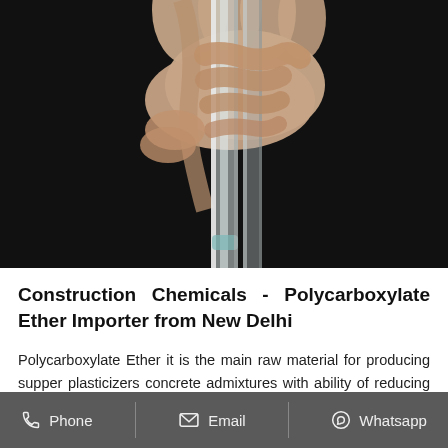[Figure (photo): A hand holding a clear glass test tube against a dark black background. The tube appears to contain a small amount of transparent liquid at the bottom.]
Construction Chemicals - Polycarboxylate Ether Importer from New Delhi
Polycarboxylate Ether it is the main raw material for producing supper plasticizers concrete admixtures with ability of reducing water and good slump retention of the new
Phone   Email   Whatsapp